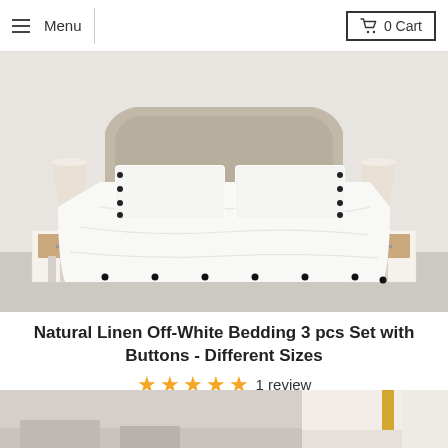Menu | 0 Cart
[Figure (photo): Bedroom scene with white linen bedding set with black buttons on a bed with beige upholstered headboard, flanked by two white nightstands with lamps]
Natural Linen Off-White Bedding 3 pcs Set with Buttons - Different Sizes
★★★★★ 1 review
from $195.00
[Figure (photo): Partial view of another product at the bottom of the page]